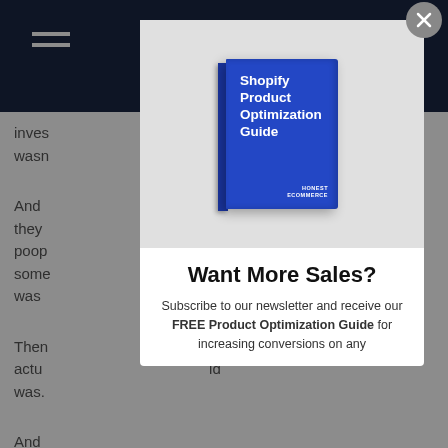[Figure (screenshot): Website background with dark navy navigation bar at top, hamburger menu icon on left, shopping bag icon on right, and partially visible article text below]
[Figure (illustration): Modal popup overlay on website showing a blue book cover titled 'Shopify Product Optimization Guide' by Honest Ecommerce, displayed on a gray background]
Want More Sales?
Subscribe to our newsletter and receive our FREE Product Optimization Guide for increasing conversions on any